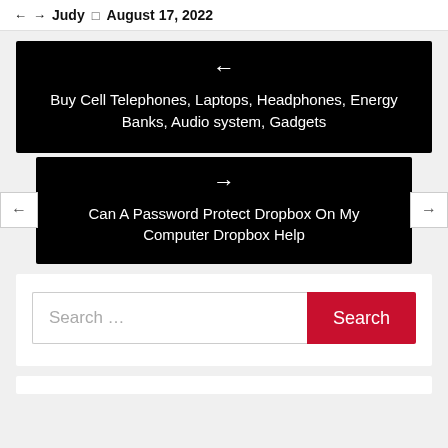Judy  August 17, 2022
[Figure (screenshot): Black navigation card with left arrow and text: Buy Cell Telephones, Laptops, Headphones, Energy Banks, Audio system, Gadgets]
[Figure (screenshot): Black navigation card with right arrow and text: Can A Password Protect Dropbox On My Computer Dropbox Help, with left and right slider arrows on sides]
Search ...
Search